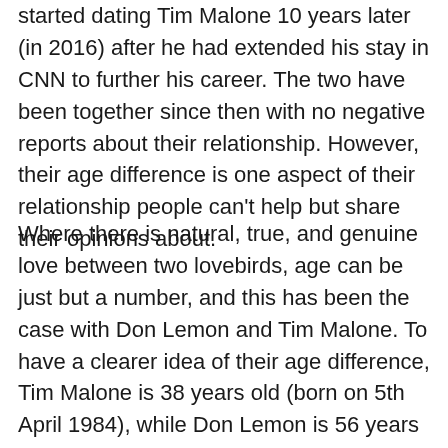started dating Tim Malone 10 years later (in 2016) after he had extended his stay in CNN to further his career. The two have been together since then with no negative reports about their relationship. However, their age difference is one aspect of their relationship people can't help but share their opinions about.
Where there is natural, true, and genuine love between two lovebirds, age can be just but a number, and this has been the case with Don Lemon and Tim Malone. To have a clearer idea of their age difference, Tim Malone is 38 years old (born on 5th April 1984), while Don Lemon is 56 years old (born on 1st March 1966). This clearly indicates that Tim Malone is 18 years younger than Don Lemon.